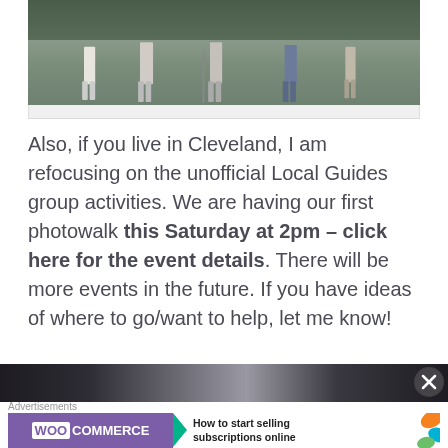[Figure (photo): Top portion of a photo showing people standing outdoors, cropped with white border/frame, showing legs and lower bodies of group of people on a path with green foliage in background]
Also, if you live in Cleveland, I am refocusing on the unofficial Local Guides group activities. We are having our first photowalk this Saturday at 2pm – click here for the event details. There will be more events in the future. If you have ideas of where to go/want to help, let me know!
[Figure (photo): Bottom portion of a photo, showing an interior or exterior scene, partially visible at the bottom of the page]
Advertisements
[Figure (screenshot): WooCommerce advertisement banner: purple background with WooCommerce logo and teal arrow, text reads 'How to start selling subscriptions online' with orange decorative shapes on right]